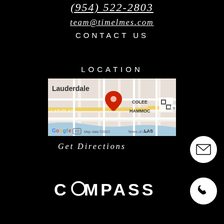(954) 522-2803
team@timelmes.com
CONTACT US
LOCATION
[Figure (map): Google Map showing Fort Lauderdale area with red pin marker near Las Olas and Colee Hammoc area. Map data ©2022, Terms of Use shown.]
Get Directions
[Figure (logo): COMPASS logo with circle replacing the O, in white text on black background]
[Figure (other): White circle button with envelope/email icon]
[Figure (other): White circle button with phone/call icon]